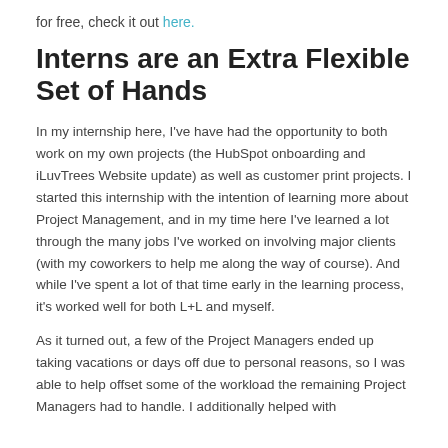for free, check it out here.
Interns are an Extra Flexible Set of Hands
In my internship here, I've have had the opportunity to both work on my own projects (the HubSpot onboarding and iLuvTrees Website update) as well as customer print projects. I started this internship with the intention of learning more about Project Management, and in my time here I've learned a lot through the many jobs I've worked on involving major clients (with my coworkers to help me along the way of course). And while I've spent a lot of that time early in the learning process, it's worked well for both L+L and myself.
As it turned out, a few of the Project Managers ended up taking vacations or days off due to personal reasons, so I was able to help offset some of the workload the remaining Project Managers had to handle. I additionally helped with